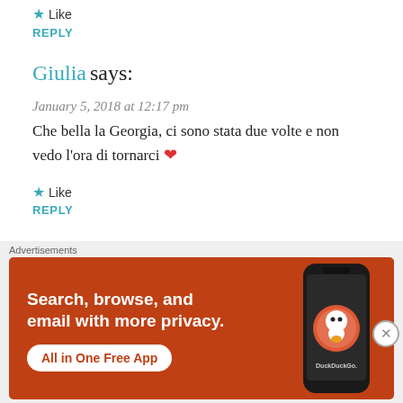Like
REPLY
Giulia says:
January 5, 2018 at 12:17 pm
Che bella la Georgia, ci sono stata due volte e non vedo l'ora di tornarci ❤
Like
REPLY
Feddysworld says:
January 5, 2018 at 12:53 pm
[Figure (other): DuckDuckGo advertisement banner: orange background with white text 'Search, browse, and email with more privacy.' and 'All in One Free App' button, with a phone image and DuckDuckGo logo]